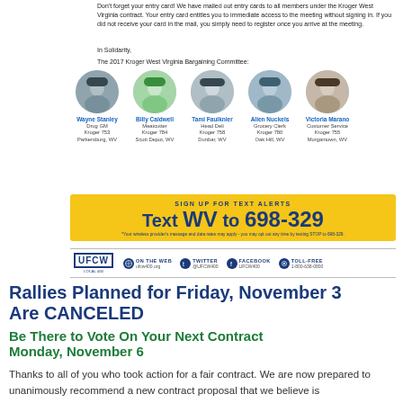Don't forget your entry card! We have mailed out entry cards to all members under the Kroger West Virginia contract. Your entry card entitles you to immediate access to the meeting without signing in. If you did not receive your card in the mail, you simply need to register once you arrive at the meeting.
In Solidarity,
The 2017 Kroger West Virginia Bargaining Committee:
[Figure (photo): Five circular headshot photos of bargaining committee members: Wayne Stanley (Drug GM, Kroger 753, Parkersburg, WV), Billy Caldwell (Meatcutter, Kroger 784, Scott Depot, WV), Tami Faulknier (Head Deli, Kroger 758, Dunbar, WV), Allen Nuckels (Grocery Clerk, Kroger 780, Oak Hill, WV), Victoria Marano (Customer Service, Kroger 755, Morgantown, WV)]
[Figure (infographic): Yellow banner: SIGN UP FOR TEXT ALERTS - Text WV to 698-329. Fine print: Your wireless provider's message and data rates may apply - you may opt out any time by texting STOP to 698-329.]
[Figure (infographic): UFCW footer bar with: ON THE WEB ufcw400.org, TWITTER @UFCW400, FACEBOOK UFCW400, TOLL-FREE 1-800-638-0800]
Rallies Planned for Friday, November 3 Are CANCELED
Be There to Vote On Your Next Contract Monday, November 6
Thanks to all of you who took action for a fair contract. We are now prepared to unanimously recommend a new contract proposal that we believe is